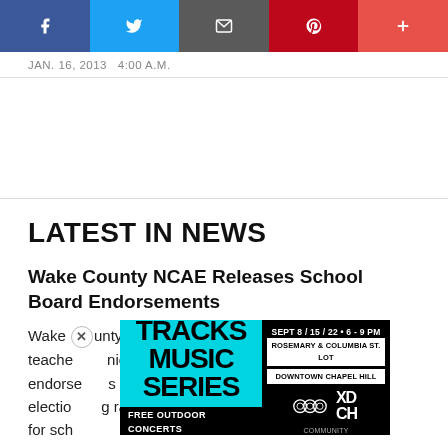[Figure (other): Social sharing bar with Facebook, Twitter, Email, Pinterest, and plus buttons]
JAN. 16, 2013   4:00 A.M.
LATEST IN NEWS
Wake County NCAE Releases School Board Endorsements
Wake county's defacto teacher... endorsements... election... for scho...
[Figure (advertisement): Tracks Music Series ad - SEPT 8/15/22 6-9 PM, Rosemary & Columbia St. Lot, Downtown Chapel Hill, Free Outdoor Concerts, Community Arts & Culture, XDCH]